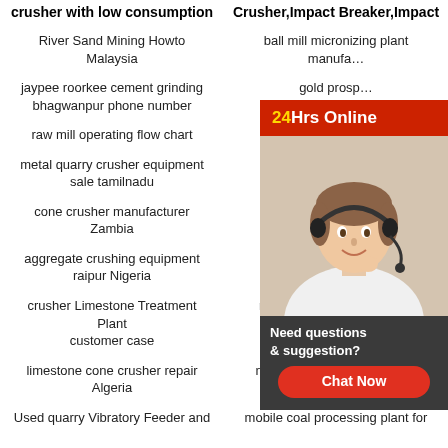crusher with low consumption
Crusher,Impact Breaker,Impact
River Sand Mining Howto Malaysia
ball mill micronizing plant manufa...
jaypee roorkee cement grinding bhagwanpur phone number
gold prosp...
raw mill operating flow chart
list of all sto...
metal quarry crusher equipment sale tamilnadu
Jaw crusher T... Us...
cone crusher manufacturer Zambia
stationary cru...
aggregate crushing equipment raipur Nigeria
silica sand ...
[Figure (infographic): 24Hrs Online chat widget with a woman wearing a headset and a 'Need questions & suggestion? Chat Now' panel]
crusher Limestone Treatment Plant customer case
machine importers crusher
limestone cone crusher repair Algeria
mobile cone crusher for hire malaysia
Used quarry Vibratory Feeder and
mobile coal processing plant for